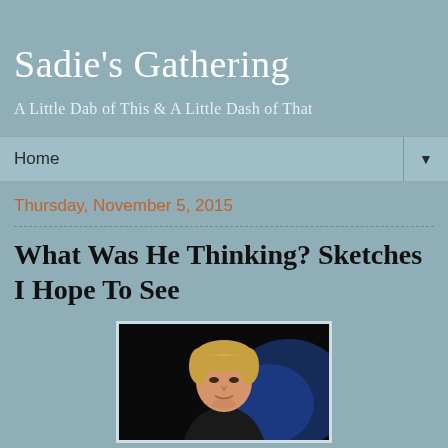Sadie's Gathering
A Little Dab of This & A Little Dash of That
Home ▼
Thursday, November 5, 2015
What Was He Thinking? Sketches I Hope To See
[Figure (photo): Photo of a person with blonde hair speaking at an event, dark background with blue lighting]